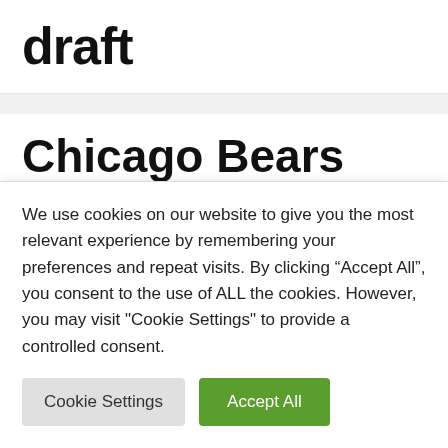draft
Chicago Bears Joined By A Second Team? One Reason It's
We use cookies on our website to give you the most relevant experience by remembering your preferences and repeat visits. By clicking “Accept All”, you consent to the use of ALL the cookies. However, you may visit "Cookie Settings" to provide a controlled consent.